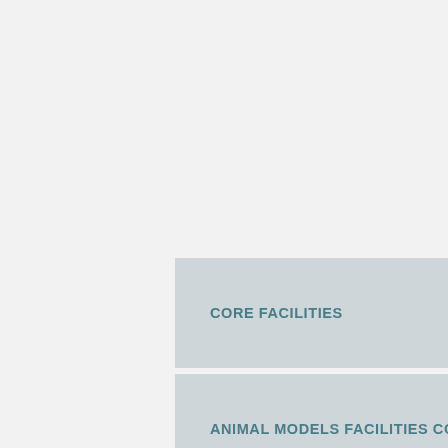CORE FACILITIES
ANIMAL MODELS FACILITIES CORE
BIOIMAGING AND CHEMICAL ANALYSIS FACI...